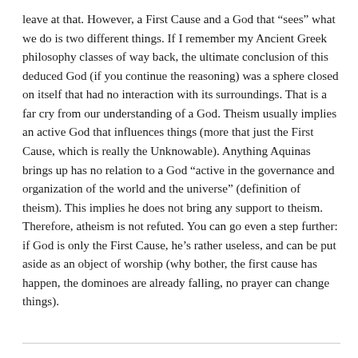leave at that. However, a First Cause and a God that “sees” what we do is two different things. If I remember my Ancient Greek philosophy classes of way back, the ultimate conclusion of this deduced God (if you continue the reasoning) was a sphere closed on itself that had no interaction with its surroundings. That is a far cry from our understanding of a God. Theism usually implies an active God that influences things (more that just the First Cause, which is really the Unknowable). Anything Aquinas brings up has no relation to a God “active in the governance and organization of the world and the universe” (definition of theism). This implies he does not bring any support to theism. Therefore, atheism is not refuted. You can go even a step further: if God is only the First Cause, he’s rather useless, and can be put aside as an object of worship (why bother, the first cause has happen, the dominoes are already falling, no prayer can change things).